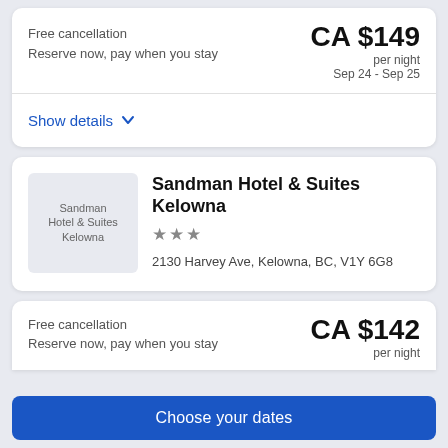Free cancellation
Reserve now, pay when you stay
CA $149
per night
Sep 24 - Sep 25
Show details
[Figure (photo): Sandman Hotel & Suites Kelowna hotel photo thumbnail]
Sandman Hotel & Suites Kelowna
★★★
2130 Harvey Ave, Kelowna, BC, V1Y 6G8
Free cancellation
Reserve now, pay when you stay
CA $142
per night
Choose your dates